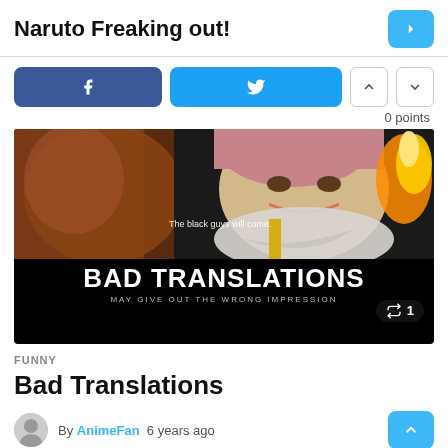Naruto Freaking out!
[Figure (screenshot): Screenshot of a website post page showing social share buttons (Facebook, Twitter), voting arrows, and a meme image. The meme shows an anime character with text 'BAD TRANSLATIONS' and subtitle 'MAY GIVE OUT THE WRONG IMPRESSION'. There is a reblog count of 1.]
FUNNY
Bad Translations
By AnimeFan  6 years ago